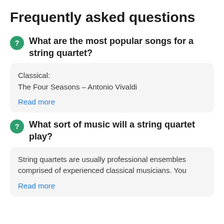Frequently asked questions
What are the most popular songs for a string quartet?
Classical:
The Four Seasons – Antonio Vivaldi
Read more
What sort of music will a string quartet play?
String quartets are usually professional ensembles comprised of experienced classical musicians. You
Read more